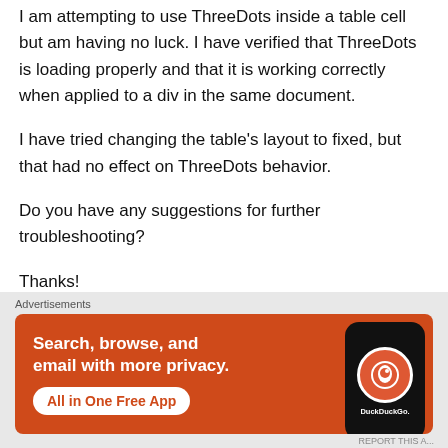I am attempting to use ThreeDots inside a table cell but am having no luck. I have verified that ThreeDots is loading properly and that it is working correctly when applied to a div in the same document.
I have tried changing the table's layout to fixed, but that had no effect on ThreeDots behavior.
Do you have any suggestions for further troubleshooting?
Thanks!
Advertisements
[Figure (illustration): DuckDuckGo advertisement banner with orange background. Text reads 'Search, browse, and email with more privacy. All in One Free App' with DuckDuckGo logo on a phone mockup.]